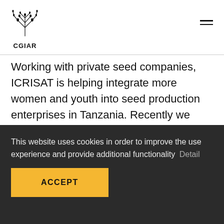CGIAR
Working with private seed companies, ICRISAT is helping integrate more women and youth into seed production enterprises in Tanzania. Recently we supported the efforts of the seed company Mbozi Highlands (MHEG), to enhance the production, promotion, marketing and adoption of new high-
This website uses cookies in order to improve the use experience and provide additional functionality  Detail
ACCEPT